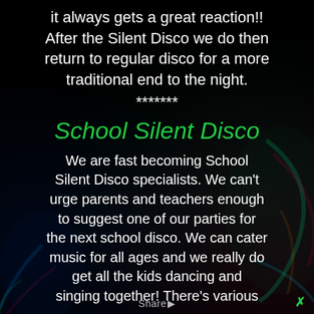it always gets a great reaction!! After the Silent Disco we do then return to regular disco for a more traditional end to the night.
*******
School Silent Disco
We are fast becoming School Silent Disco specialists. We can't urge parents and teachers enough to suggest one of our parties for the next school disco. We can cater music for all ages and we really do get all the kids dancing and singing together! There's various
Share ▶  ✕